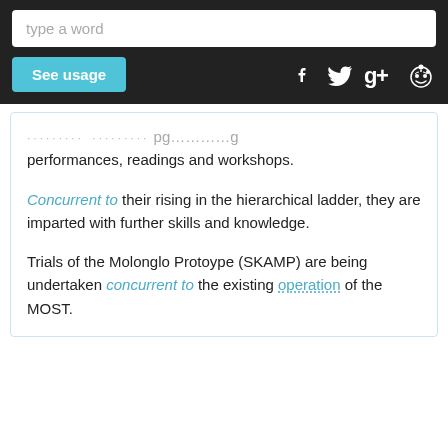[Figure (screenshot): Search bar UI with placeholder text 'type a word']
[Figure (screenshot): See usage button and social media icons (Facebook, Twitter, Google+, Reddit)]
performances, readings and workshops.
Concurrent to their rising in the hierarchical ladder, they are imparted with further skills and knowledge.
Trials of the Molonglo Protoype (SKAMP) are being undertaken concurrent to the existing operation of the MOST.